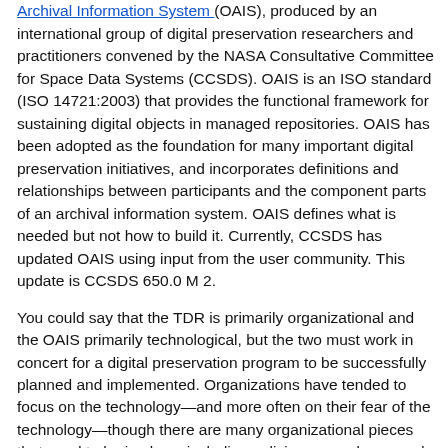The second document is the Reference Model for an Open Archival Information System (OAIS), produced by an international group of digital preservation researchers and practitioners convened by the NASA Consultative Committee for Space Data Systems (CCSDS). OAIS is an ISO standard (ISO 14721:2003) that provides the functional framework for sustaining digital objects in managed repositories. OAIS has been adopted as the foundation for many important digital preservation initiatives, and incorporates definitions and relationships between participants and the component parts of an archival information system. OAIS defines what is needed but not how to build it. Currently, CCSDS has updated OAIS using input from the user community. This update is CCSDS 650.0 M 2.
You could say that the TDR is primarily organizational and the OAIS primarily technological, but the two must work in concert for a digital preservation program to be successfully planned and implemented. Organizations have tended to focus on the technology—and more often on their fear of the technology—though there are many organizational pieces that need to be in place, including policies, procedures, and sustainable resources.
Here we present the two foundation documents in some detail with a special emphasis on preservation metadata and then discuss how they fit together to provide a starting point for cultural organizations wishing to establish a digital preservation repository.